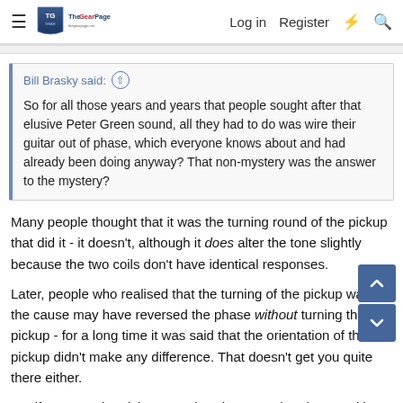The Gear Page — Log in  Register
Bill Brasky said: ↑

So for all those years and years that people sought after that elusive Peter Green sound, all they had to do was wire their guitar out of phase, which everyone knows about and had already been doing anyway? That non-mystery was the answer to the mystery?
Many people thought that it was the turning round of the pickup that did it - it doesn't, although it does alter the tone slightly because the two coils don't have identical responses.
Later, people who realised that the turning of the pickup wasn't the cause may have reversed the phase without turning the pickup - for a long time it was said that the orientation of the pickup didn't make any difference. That doesn't get you quite there either.
But if you turn the pickup round and reverse the phase - either by flipping the magnet or rewiring it - and of course if you can play like Peter Green 😉 and use the right amp (notice that Gary Moore